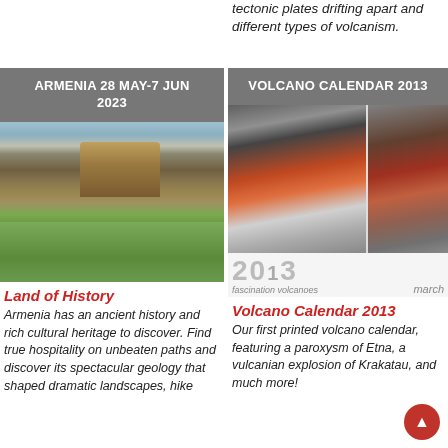tectonic plates drifting apart and different types of volcanism.
[Figure (photo): Armenia castle on a green hillside with cloudy sky, labeled ARMENIA 28 MAY-7 JUN 2023]
[Figure (photo): Volcano Calendar 2013 cover showing volcanic eruption images with '2013 fascination volcanoes' text and march label]
Land of History
Armenia has an ancient history and rich cultural heritage to discover. Find true hospitality on unbeaten paths and discover its spectacular geology that shaped dramatic landscapes, hike
Volcano Calendar 2013
Our first printed volcano calendar, featuring a paroxysm of Etna, a vulcanian explosion of Krakatau, and much more!